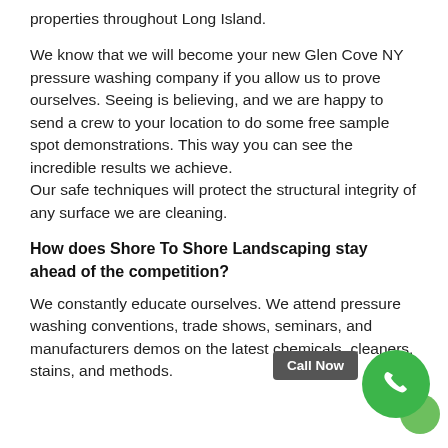properties throughout Long Island.
We know that we will become your new Glen Cove NY pressure washing company if you allow us to prove ourselves. Seeing is believing, and we are happy to send a crew to your location to do some free sample spot demonstrations. This way you can see the incredible results we achieve. Our safe techniques will protect the structural integrity of any surface we are cleaning.
How does Shore To Shore Landscaping stay ahead of the competition?
We constantly educate ourselves. We attend pressure washing conventions, trade shows, seminars, and manufacturers demos on the latest chemicals, cleaners, stains, and methods.